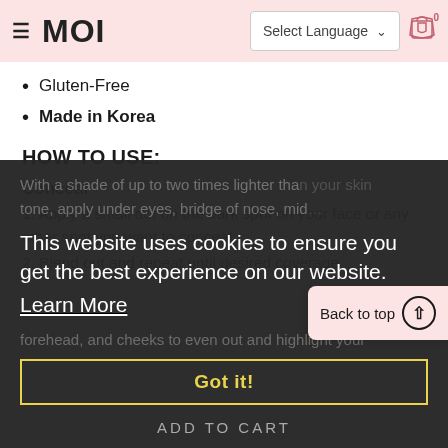MOI - Select Language
Gluten-Free
Made in Korea
HOW TO USE:
Conceal
1. Apply a small dot on the dark spot on your face or any other spot you want to conceal.
2. Blend out and repeat until desired coverage.
With a shade of up to two times lighter than your skin tone, apply under eyes, bridge of nose, mid forehead, and cheeks to even out and highlight your
This website uses cookies to ensure you get the best experience on our website. Learn More
Got it!
ADD TO CART